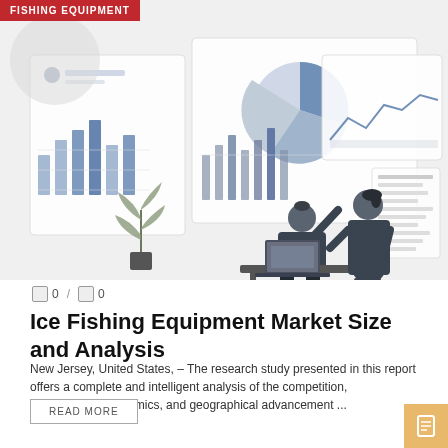FISHING EQUIPMENT
[Figure (illustration): Business analytics illustration with two people reviewing dashboards with bar charts, pie charts, and line graphs on multiple panels. A plant is visible on the left side. Light grey and blue color scheme.]
0 / 0
Ice Fishing Equipment Market Size and Analysis
New Jersey, United States, – The research study presented in this report offers a complete and intelligent analysis of the competition, segmentation, dynamics, and geographical advancement ...
READ MORE